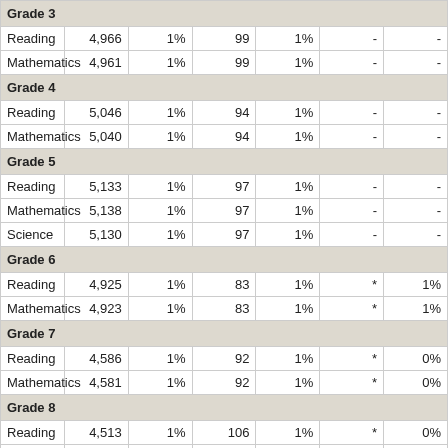| Subject | N | % | N | % |  | % |
| --- | --- | --- | --- | --- | --- | --- |
| Grade 3 |  |  |  |  |  |  |
| Reading | 4,966 | 1% | 99 | 1% | - | - |
| Mathematics | 4,961 | 1% | 99 | 1% | - | - |
| Grade 4 |  |  |  |  |  |  |
| Reading | 5,046 | 1% | 94 | 1% | - | - |
| Mathematics | 5,040 | 1% | 94 | 1% | - | - |
| Grade 5 |  |  |  |  |  |  |
| Reading | 5,133 | 1% | 97 | 1% | - | - |
| Mathematics | 5,138 | 1% | 97 | 1% | - | - |
| Science | 5,130 | 1% | 97 | 1% | - | - |
| Grade 6 |  |  |  |  |  |  |
| Reading | 4,925 | 1% | 83 | 1% | * | 1% |
| Mathematics | 4,923 | 1% | 83 | 1% | * | 1% |
| Grade 7 |  |  |  |  |  |  |
| Reading | 4,586 | 1% | 92 | 1% | * | 0% |
| Mathematics | 4,581 | 1% | 92 | 1% | * | 0% |
| Grade 8 |  |  |  |  |  |  |
| Reading | 4,513 | 1% | 106 | 1% | * | 0% |
| Mathematics | 4,507 | 1% | 106 | 2% | * | 1% |
| Science | 4,492 | 1% | 106 | 1% | * | 0% |
| End of Course |  |  |  |  |  |  |